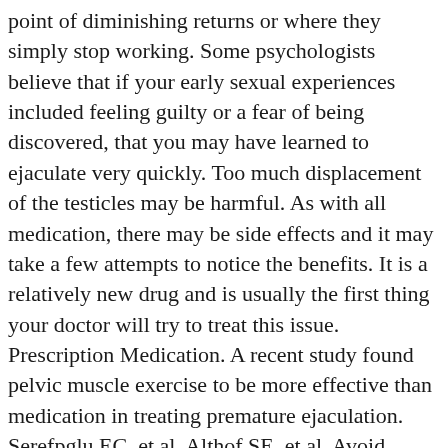point of diminishing returns or where they simply stop working. Some psychologists believe that if your early sexual experiences included feeling guilty or a fear of being discovered, that you may have learned to ejaculate very quickly. Too much displacement of the testicles may be harmful. As with all medication, there may be side effects and it may take a few attempts to notice the benefits. It is a relatively new drug and is usually the first thing your doctor will try to treat this issue. Prescription Medication. A recent study found pelvic muscle exercise to be more effective than medication in treating premature ejaculation. Serefpglu EC, et al. Althof SE, et al. Avoid using condoms that are designed to increase your stimulation. Any of these home remedies and natural treatments can help you manage your symptoms. Some men with premature ejaculation may avoid sex as a result. Combining an